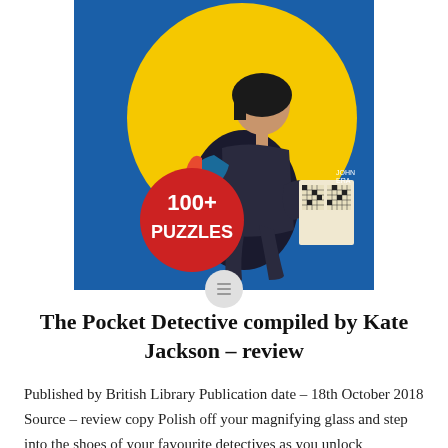[Figure (illustration): Book cover of 'The Pocket Detective' showing a vintage illustration of a woman in dark clothing crouching and examining a crossword puzzle book, in front of a large yellow circle on a blue background. A red circle badge reads '100+ PUZZLES'.]
The Pocket Detective compiled by Kate Jackson – review
Published by British Library Publication date – 18th October 2018 Source – review copy Polish off your magnifying glass and step into the shoes of your favourite detectives as you unlock tantalising clues and solve intricate